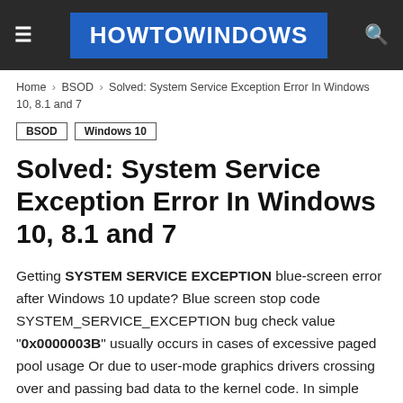HOWTOWINDOWS
Home › BSOD › Solved: System Service Exception Error In Windows 10, 8.1 and 7
BSOD   Windows 10
Solved: System Service Exception Error In Windows 10, 8.1 and 7
Getting SYSTEM SERVICE EXCEPTION blue-screen error after Windows 10 update? Blue screen stop code SYSTEM_SERVICE_EXCEPTION bug check value "0x0000003B" usually occurs in cases of excessive paged pool usage Or due to user-mode graphics drivers crossing over and passing bad data to the kernel code. In simple words, your Windows installation and your drivers are incompatible with each other. That results